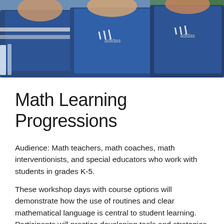[Figure (photo): Group photo of students or athletes wearing blue Adidas jerseys/t-shirts, cropped to show torsos and partial faces at the top of the page.]
Math Learning Progressions
Audience: Math teachers, math coaches, math interventionists, and special educators who work with students in grades K-5.
These workshop days with course options will demonstrate how the use of routines and clear mathematical language is central to student learning. Participants will practice developing tools and strategies to best reach all elementary